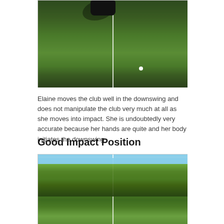[Figure (photo): Photo of a golfer's feet and lower body on a green golf course during downswing, with a white alignment stick visible and a golf ball on the grass]
Elaine moves the club well in the downswing and does not manipulate the club very much at all as she moves into impact. She is undoubtedly very accurate because her hands are quite and her body initiates the downswing
Good Impact Position
[Figure (photo): Photo of a golfer at impact position on a golf course with trees in the background, white alignment stick visible]